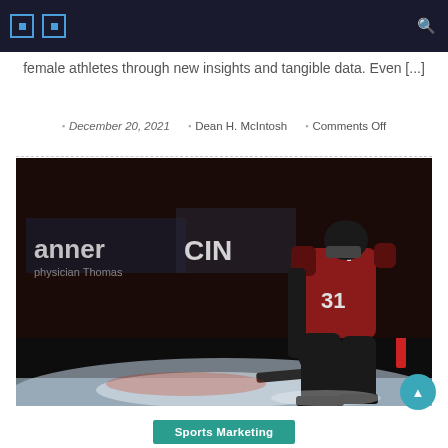Navigation bar with icons
female athletes through new insights and tangible data. Even [...]
December 20, 2021  |  Dean H. McIntosh  |  Comments Off
[Figure (photo): Hockey goalie wearing jersey number 31 in a red and black uniform, crouching in ready position on ice, with arena sponsor banners (Banner, CINI) visible in the dark background]
Sports Marketing